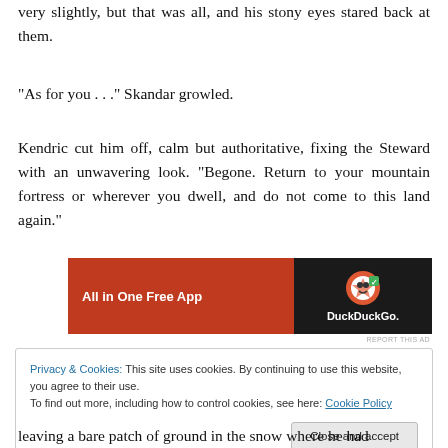very slightly, but that was all, and his stony eyes stared back at them.
“As for you . . .” Skandar growled.
Kendric cut him off, calm but authoritative, fixing the Steward with an unwavering look. “Begone. Return to your mountain fortress or wherever you dwell, and do not come to this land again.”
[Figure (screenshot): Advertisement banner for DuckDuckGo: orange section with 'All in One Free App' text, dark section with DuckDuckGo logo and duck icon]
Privacy & Cookies: This site uses cookies. By continuing to use this website, you agree to their use.
To find out more, including how to control cookies, see here: Cookie Policy
leaving a bare patch of ground in the snow where he had